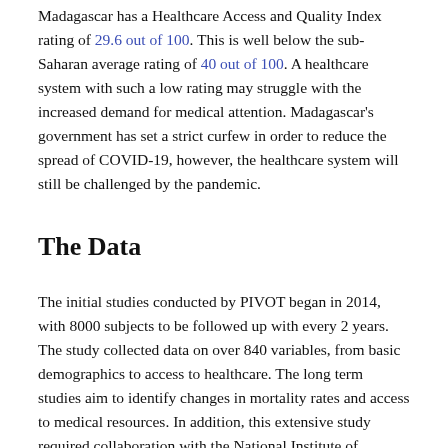Madagascar has a Healthcare Access and Quality Index rating of 29.6 out of 100. This is well below the sub-Saharan average rating of 40 out of 100. A healthcare system with such a low rating may struggle with the increased demand for medical attention. Madagascar's government has set a strict curfew in order to reduce the spread of COVID-19, however, the healthcare system will still be challenged by the pandemic.
The Data
The initial studies conducted by PIVOT began in 2014, with 8000 subjects to be followed up with every 2 years. The study collected data on over 840 variables, from basic demographics to access to healthcare. The long term studies aim to identify changes in mortality rates and access to medical resources. In addition, this extensive study required collaboration with the National Institute of Statistics of Madagascar. The results indicated maternal mortality rates to be one in 14, twice the estimated previous national Madagascar health predictions.
Astrophysicist Jim Herrnstein, helped Rand found PIVOT and their